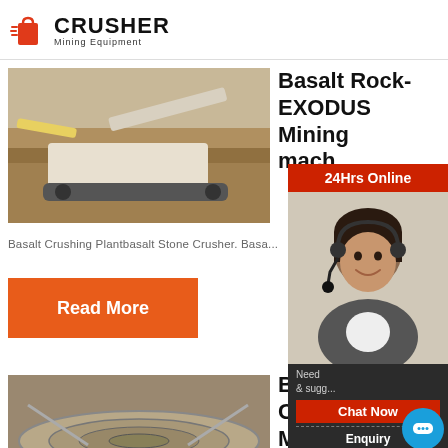CRUSHER Mining Equipment
[Figure (photo): Mining crusher machine working in an open quarry/mine site with excavated rock and soil]
Basalt Rock- EXODUS Mining mach...
Basalt Crushing Plantbasalt Stone Crusher. Basa...
Read More
[Figure (photo): Close-up of a basalt crushing machine bowl/cone crusher interior]
Basal... Crush... Machine
[Figure (infographic): 24Hrs Online support sidebar with customer service representative photo, Chat Now button, Enquiry section, and email limingjlmofen@sina.com]